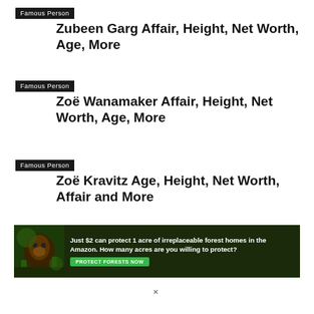Famous Person
Zubeen Garg Affair, Height, Net Worth, Age, More
Famous Person
Zoë Wanamaker Affair, Height, Net Worth, Age, More
Famous Person
Zoë Kravitz Age, Height, Net Worth, Affair and More
Famous Person
Zoltan Rencsar Affair, Height, Net Worth, Age, More
[Figure (infographic): Advertisement banner: dark green background with an image of an orangutan. Text reads 'Just $2 can protect 1 acre of irreplaceable forest homes in the Amazon. How many acres are you willing to protect?' with a green 'PROTECT FORESTS NOW' button.]